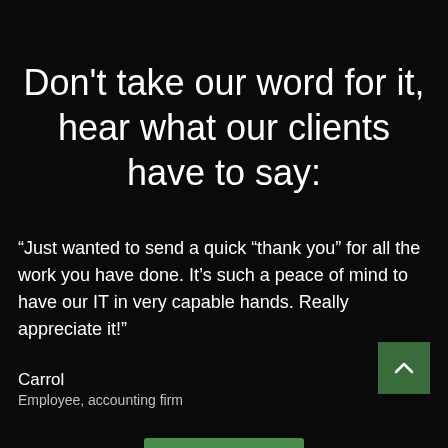Don't take our word for it, hear what our clients have to say:
“Just wanted to send a quick “thank you” for all the work you have done. It’s such a peace of mind to have our IT in very capable hands. Really appreciate it!”
Carrol
Employee, accounting firm